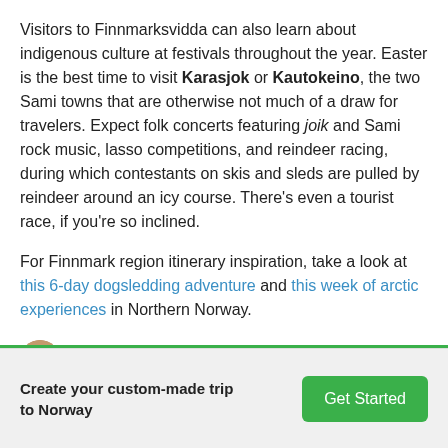Visitors to Finnmarksvidda can also learn about indigenous culture at festivals throughout the year. Easter is the best time to visit Karasjok or Kautokeino, the two Sami towns that are otherwise not much of a draw for travelers. Expect folk concerts featuring joik and Sami rock music, lasso competitions, and reindeer racing, during which contestants on skis and sleds are pulled by reindeer around an icy course. There's even a tourist race, if you're so inclined.
For Finnmark region itinerary inspiration, take a look at this 6-day dogsledding adventure and this week of arctic experiences in Northern Norway.
Written by Giulia Pines, updated Feb 18, 2021
17 people like this. Sign Up to see what your
Create your custom-made trip to Norway
Get Started